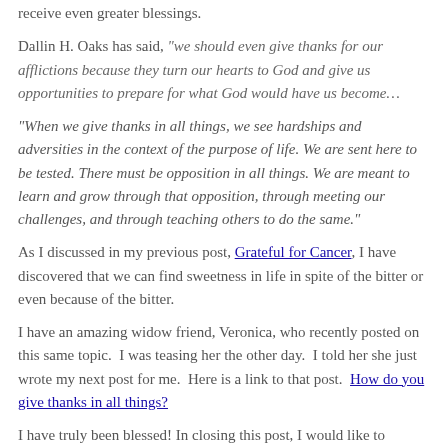receive even greater blessings.
Dallin H. Oaks has said, “we should even give thanks for our afflictions because they turn our hearts to God and give us opportunities to prepare for what God would have us become…
“When we give thanks in all things, we see hardships and adversities in the context of the purpose of life. We are sent here to be tested. There must be opposition in all things. We are meant to learn and grow through that opposition, through meeting our challenges, and through teaching others to do the same.”
As I discussed in my previous post, Grateful for Cancer, I have discovered that we can find sweetness in life in spite of the bitter or even because of the bitter.
I have an amazing widow friend, Veronica, who recently posted on this same topic.  I was teasing her the other day.  I told her she just wrote my next post for me.  Here is a link to that post.  How do you give thanks in all things?
I have truly been blessed!  In closing this post, I would like to